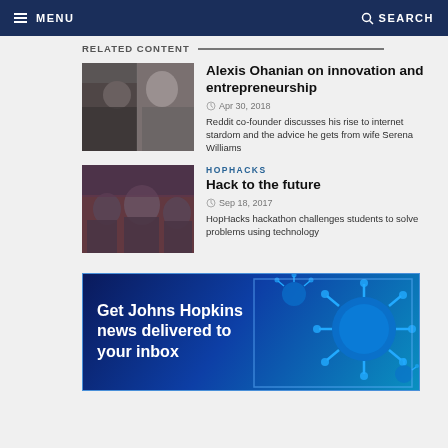MENU | SEARCH
RELATED CONTENT
Alexis Ohanian on innovation and entrepreneurship
Apr 30, 2018
Reddit co-founder discusses his rise to internet stardom and the advice he gets from wife Serena Williams
HOPHACKS
Hack to the future
Sep 18, 2017
HopHacks hackathon challenges students to solve problems using technology
[Figure (illustration): Banner: Get Johns Hopkins news delivered to your inbox, blue background with virus/molecule imagery]